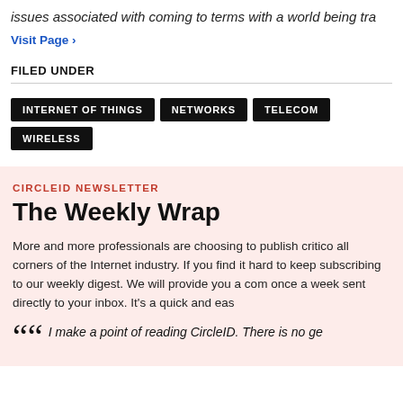issues associated with coming to terms with a world being tra
Visit Page ›
FILED UNDER
INTERNET OF THINGS
NETWORKS
TELECOM
WIRELESS
CIRCLEID NEWSLETTER
The Weekly Wrap
More and more professionals are choosing to publish critico all corners of the Internet industry. If you find it hard to keep subscribing to our weekly digest. We will provide you a com once a week sent directly to your inbox. It's a quick and eas
I make a point of reading CircleID. There is no ge